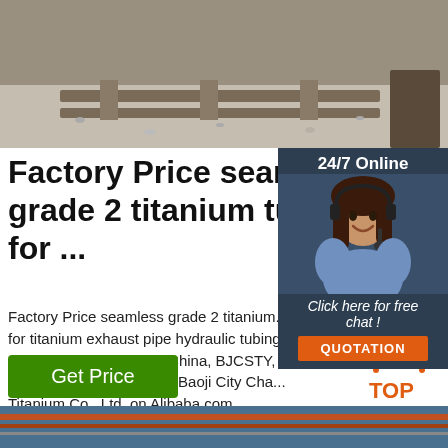[Figure (photo): Gravel/aggregate surface with metal tracks, top photo]
Factory Price seamless grade 2 titanium tube p for ...
Factory Price seamless grade 2 titanium ... for titanium exhaust pipe hydraulic tubing - 42 Kilogram, Shaanxi, China, BJCSTY, BJCS00797.Source from Baoji City Cha... Titanium Co., Ltd. on Alibaba.com.
[Figure (photo): Customer service agent with headset, 24/7 online badge with chat and quotation button]
[Figure (illustration): TOP icon with orange dots forming a triangle and orange text]
[Figure (photo): Bottom partial photo, blue/industrial scene]